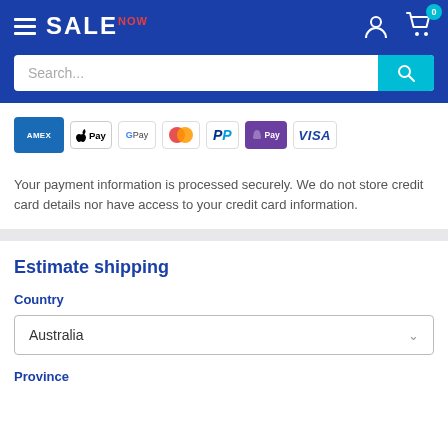SALE NOW — navigation header with hamburger menu, logo, user icon, cart icon with badge 0
Search...
[Figure (logo): Payment method icons: American Express, Apple Pay, Google Pay, Mastercard, PayPal, Shop Pay, Visa]
Your payment information is processed securely. We do not store credit card details nor have access to your credit card information.
Estimate shipping
Country
Australia
Province